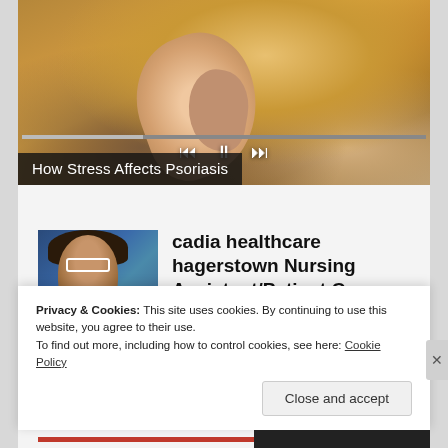[Figure (screenshot): Video player showing a woman in a yellow/mustard sweater holding her arm, with playback controls (rewind, pause, fast-forward) and a progress bar overlay]
How Stress Affects Psoriasis
[Figure (photo): Thumbnail photo of a smiling Black woman with glasses and curly hair wearing dark blue scrubs, with healthcare workers in background]
cadia healthcare hagerstown Nursing Assistant/Patient Care...
Privacy & Cookies: This site uses cookies. By continuing to use this website, you agree to their use.
To find out more, including how to control cookies, see here: Cookie Policy
Close and accept